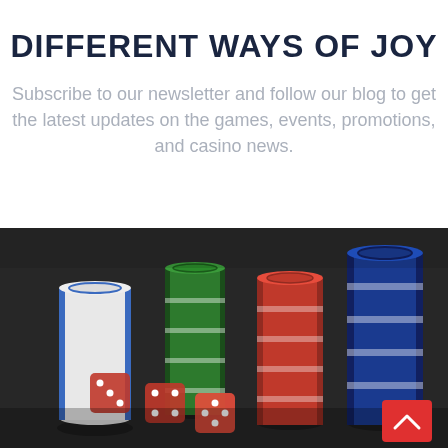DIFFERENT WAYS OF JOY
Subscribe to our newsletter and follow our blog to get the latest updates on the games, events, promotions, and casino news.
[Figure (photo): Photo of stacks of casino poker chips in white, green, red, and blue colors, with red translucent dice scattered on a dark table surface.]